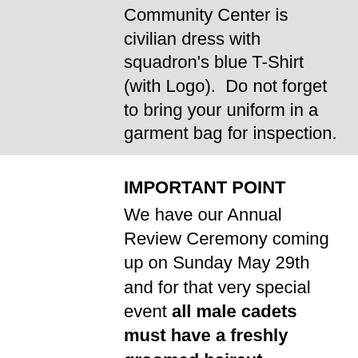Community Center is civilian dress with squadron's blue T-Shirt (with Logo).  Do not forget to bring your uniform in a garment bag for inspection.
IMPORTANT POINT
We have our Annual Review Ceremony coming up on Sunday May 29th and for that very special event all male cadets must have a freshly groomed haircut according to the cadet program dress regulations.  If you do not meet this standard and did not have the time this week to get your hair cut, here is your last chance to do it and for a very good price.  Capt Duchesneau happens to be a professional hairdresser and she will provide haircut tonight to cadets who needs it.  Bring $10.00 and the